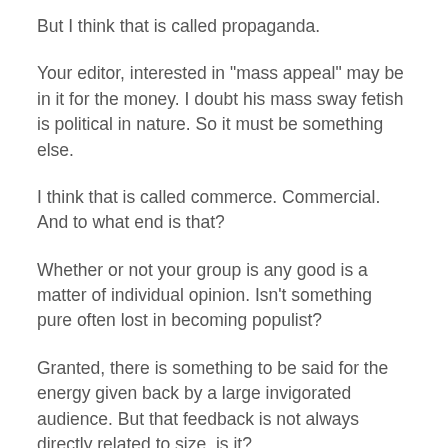But I think that is called propaganda.
Your editor, interested in "mass appeal" may be in it for the money. I doubt his mass sway fetish is political in nature. So it must be something else.
I think that is called commerce. Commercial. And to what end is that?
Whether or not your group is any good is a matter of individual opinion. Isn't something pure often lost in becoming populist?
Granted, there is something to be said for the energy given back by a large invigorated audience. But that feedback is not always directly related to size, is it?
If there were thousands, or only one or two starfish stranded in the audience, it may very well make a difference to only one of them. And what a difference that difference can make.